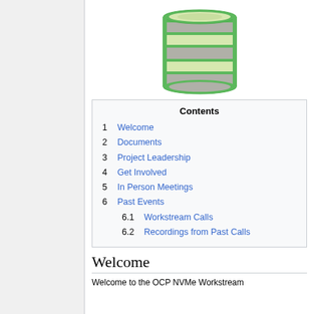[Figure (illustration): A stylized database cylinder icon with alternating green and gray horizontal bands and a green border/rim]
| Contents |
| --- |
| 1 Welcome |
| 2 Documents |
| 3 Project Leadership |
| 4 Get Involved |
| 5 In Person Meetings |
| 6 Past Events |
| 6.1 Workstream Calls |
| 6.2 Recordings from Past Calls |
Welcome
Welcome to the OCP NVMe Workstream